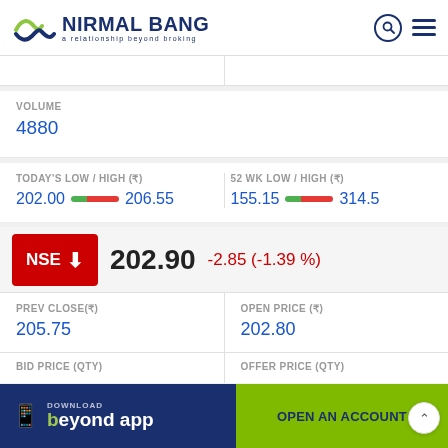NIRMAL BANG — a relationship beyond broking
VOLUME
4880
TODAY'S LOW / HIGH (₹)
202.00 — 206.55
52 WK LOW / HIGH (₹)
155.15 — 314.5
NSE ↓ 202.90  -2.85 (-1.39 %)
PREV CLOSE(₹)
205.75
OPEN PRICE (₹)
202.80
BID PRICE (QTY)
OFFER PRICE (QTY)
DOWNLOAD beyond app
OPEN AN ACCOUNT